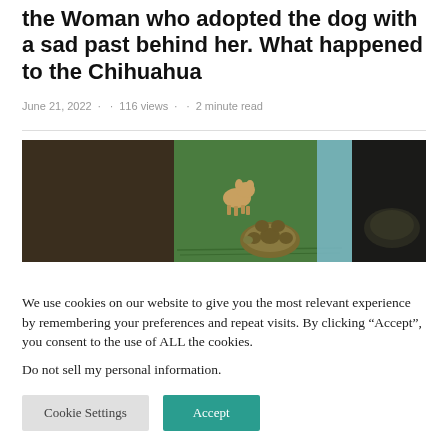the Woman who adopted the dog with a sad past behind her. What happened to the Chihuahua
June 21, 2022 · · 116 views · · 2 minute read
[Figure (photo): Three-panel collage showing a small tan chihuahua dog on green grass, a tortoise on green grass, and a dark panel — outdoor scene with blue element visible in middle panel.]
We use cookies on our website to give you the most relevant experience by remembering your preferences and repeat visits. By clicking “Accept”, you consent to the use of ALL the cookies.
Do not sell my personal information.
Cookie Settings   Accept